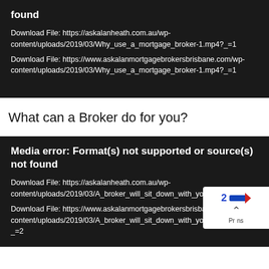found
Download File: https://askalanheath.com.au/wp-content/uploads/2019/03/Why_use_a_mortgage_broker-1.mp4?_=1
Download File: https://www.askalanmortgagebrokersbrisbane.com/wp-content/uploads/2019/03/Why_use_a_mortgage_broker-1.mp4?_=1
What can a Broker do for you?
Media error: Format(s) not supported or source(s) not found
Download File: https://askalanheath.com.au/wp-content/uploads/2019/03/A_broker_will_sit_down_with_you_and_list.mp
Download File: https://www.askalanmortgagebrokersbrisbane.com/wp-content/uploads/2019/03/A_broker_will_sit_down_with_you_and_list.mp4?_=2